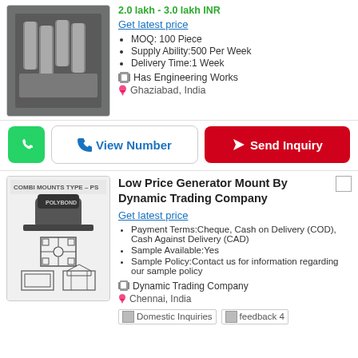2.0 lakh - 3.0 lakh INR
Get latest price
MOQ: 100 Piece
Supply Ability:500 Per Week
Delivery Time:1 Week
Has Engineering Works
Ghaziabad, India
View Number
Send Inquiry
[Figure (photo): Product image of metal cylindrical pins/rollers]
Low Price Generator Mount By Dynamic Trading Company
Get latest price
Payment Terms:Cheque, Cash on Delivery (COD), Cash Against Delivery (CAD)
Sample Available:Yes
Sample Policy:Contact us for information regarding our sample policy
Dynamic Trading Company
Chennai, India
Domestic Inquiries
feedback 4